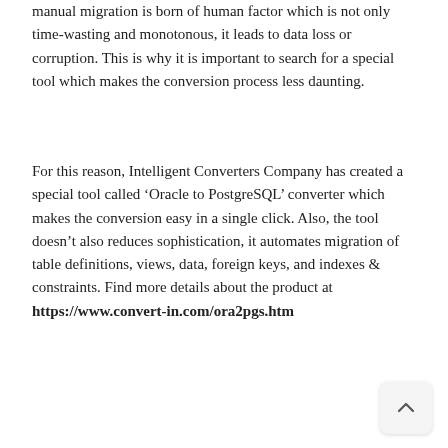manual migration is born of human factor which is not only time-wasting and monotonous, it leads to data loss or corruption. This is why it is important to search for a special tool which makes the conversion process less daunting.
For this reason, Intelligent Converters Company has created a special tool called ‘Oracle to PostgreSQL’ converter which makes the conversion easy in a single click. Also, the tool doesn’t also reduces sophistication, it automates migration of table definitions, views, data, foreign keys, and indexes & constraints. Find more details about the product at https://www.convert-in.com/ora2pgs.htm